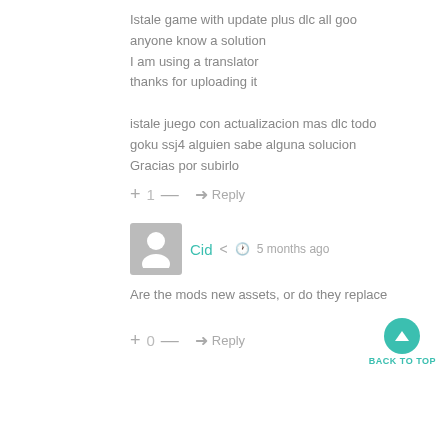Istale game with update plus dlc all goo...
anyone know a solution
I am using a translator
thanks for uploading it

istale juego con actualizacion mas dlc todo...
goku ssj4 alguien sabe alguna solucion
Gracias por subirlo
+ 1 — ➜ Reply
[Figure (other): User avatar placeholder icon (grey square with person silhouette)]
Cid  5 months ago
Are the mods new assets, or do they replace...
+ 0 — ➜ Reply
BACK TO TOP